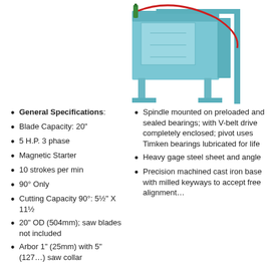[Figure (photo): Industrial saw machine in light blue color with a red curved element and green bottle, shown from the side with a stand, photographed against white background.]
General Specifications:
Blade Capacity: 20"
5 H.P. 3 phase
Magnetic Starter
10 strokes per min
90° Only
Cutting Capacity 90°: 5½" X 11½
20" OD (504mm); saw blades not included
Arbor 1" (25mm) with 5" (127mm) saw collar
Spindle mounted on preloaded and sealed bearings; with V-belt drive completely enclosed; pivot uses Timken bearings lubricated for life
Heavy gage steel sheet and angle
Precision machined cast iron base with milled keyways to accept free alignment
Arbor 1" (25mm) with 5" (127mm) saw collar